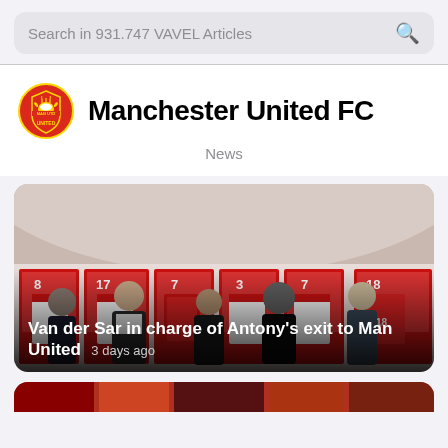Search in 931.747 VAVEL Articles
Manchester United FC
News
[Figure (photo): Five men standing in a football locker room with red and white jerseys hanging behind them, numbered 8, 17, 7, 3, 7, 18 on the stalls]
Van der Sar in charge of Antony's exit to Man United  3 days ago
[Figure (photo): Partial view of another article card at the bottom, showing a blurred colorful background]